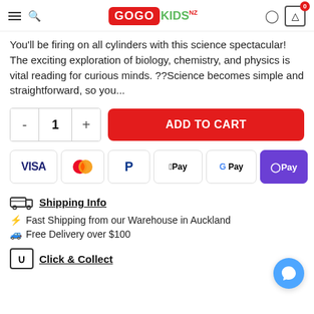GoGo Kids NZ - navigation header with logo, search, account, and cart
You'll be firing on all cylinders with this science spectacular! The exciting exploration of biology, chemistry, and physics is vital reading for curious minds. ??Science becomes simple and straightforward, so you...
[Figure (screenshot): Quantity selector with minus, 1, plus buttons and red ADD TO CART button]
[Figure (infographic): Payment method badges: VISA, Mastercard, PayPal, Apple Pay, Google Pay, OPay]
Shipping Info
Fast Shipping from our Warehouse in Auckland
Free Delivery over $100
Click & Collect